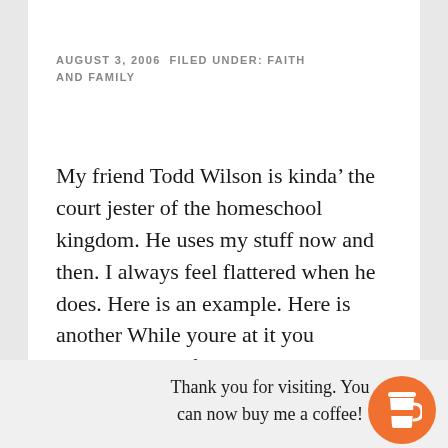AUGUST 3, 2006 FILED UNDER: FAITH AND FAMILY
My friend Todd Wilson is kinda’ the court jester of the homeschool kingdom. He uses my stuff now and then. I always feel flattered when he does. Here is an example. Here is another While youre at it you should sign up for his weekly e-mail. It is always good stuff for dads and funny. […]
Thank you for visiting. You can now buy me a coffee!